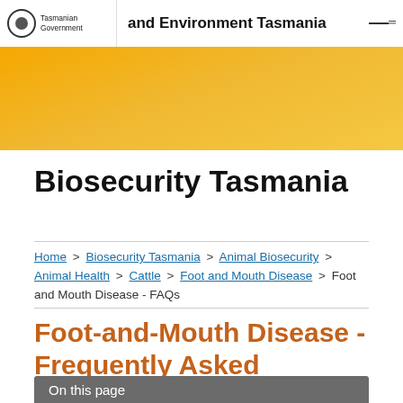Tasmanian Government | and Environment Tasmania
[Figure (illustration): Yellow/orange gradient decorative banner]
Biosecurity Tasmania
Home > Biosecurity Tasmania > Animal Biosecurity > Animal Health > Cattle > Foot and Mouth Disease > Foot and Mouth Disease - FAQs
Foot-and-Mouth Disease - Frequently Asked Questions
On this page